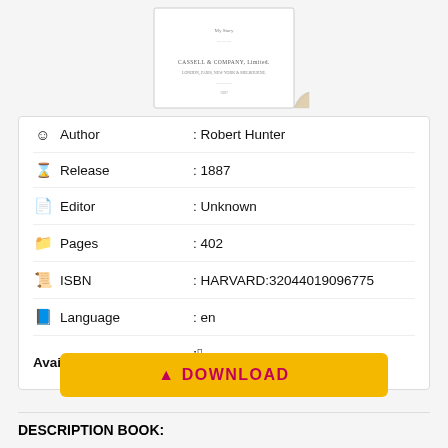[Figure (illustration): Book cover thumbnail showing a vintage publication with 'CASSELL & COMPANY, Limited' publisher text, with a page-curl effect in the bottom right corner.]
| Author | : Robert Hunter |
| Release | : 1887 |
| Editor | : Unknown |
| Pages | : 402 |
| ISBN | : HARVARD:32044019096775 |
| Language | : en |
| Available for | : (Apple, Windows, Linux, Android icons) |
DOWNLOAD
DESCRIPTION BOOK: